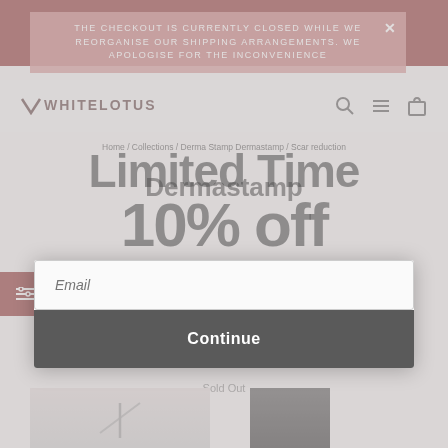THE CHECKOUT IS CURRENTLY CLOSED WHILE WE REORGANISE OUR SHIPPING ARRANGEMENTS. WE APOLOGISE FOR THE INCONVENIENCE
[Figure (screenshot): WhiteLotus website navigation bar with logo and icons for search, menu, and cart]
Home / Collections / Derma Stamp Dermastamp / Scar reduction
Dermastamp
[Figure (infographic): Limited Time 10% off promotional popup overlay with email signup form and Continue button]
Limited Time
10% off
Save on your first order and get email only offers when you join.
Email
Continue
Filter (1)
Featured
3 products
Sold Out